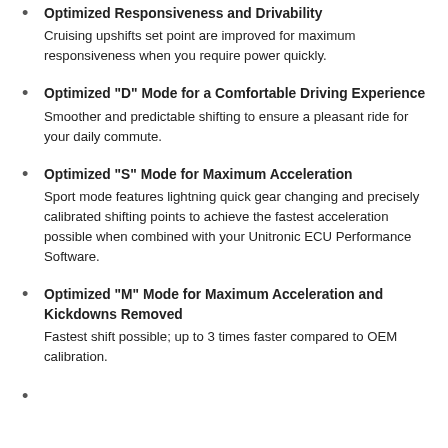Optimized Responsiveness and Drivability
Cruising upshifts set point are improved for maximum responsiveness when you require power quickly.
Optimized "D" Mode for a Comfortable Driving Experience
Smoother and predictable shifting to ensure a pleasant ride for your daily commute.
Optimized "S" Mode for Maximum Acceleration
Sport mode features lightning quick gear changing and precisely calibrated shifting points to achieve the fastest acceleration possible when combined with your Unitronic ECU Performance Software.
Optimized "M" Mode for Maximum Acceleration and Kickdowns Removed
Fastest shift possible; up to 3 times faster compared to OEM calibration.